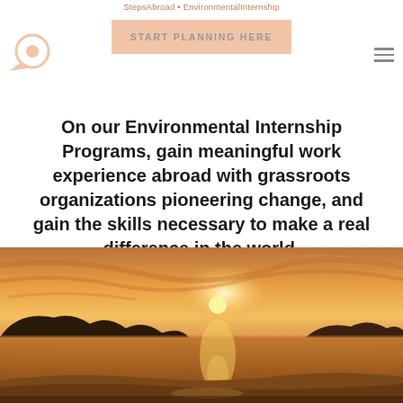StepsAbroad • Environmental Internship
On our Environmental Internship Programs, gain meaningful work experience abroad with grassroots organizations pioneering change, and gain the skills necessary to make a real difference in the world.
[Figure (photo): Sunset over the ocean with silhouetted mountains and golden light reflecting on water and beach sand.]